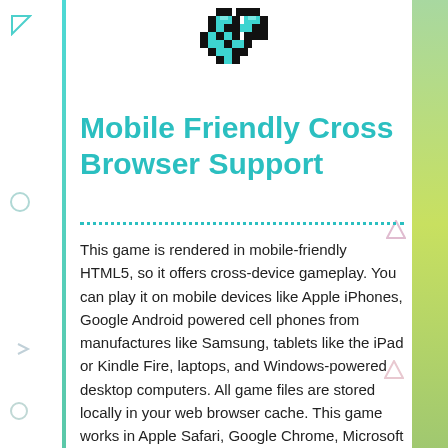[Figure (illustration): Pixel art checkmark icon in teal/black colors at top center]
Mobile Friendly Cross Browser Support
This game is rendered in mobile-friendly HTML5, so it offers cross-device gameplay. You can play it on mobile devices like Apple iPhones, Google Android powered cell phones from manufactures like Samsung, tablets like the iPad or Kindle Fire, laptops, and Windows-powered desktop computers. All game files are stored locally in your web browser cache. This game works in Apple Safari, Google Chrome, Microsoft Edge, Mozilla Firefox, Opera and other modern web browsers.